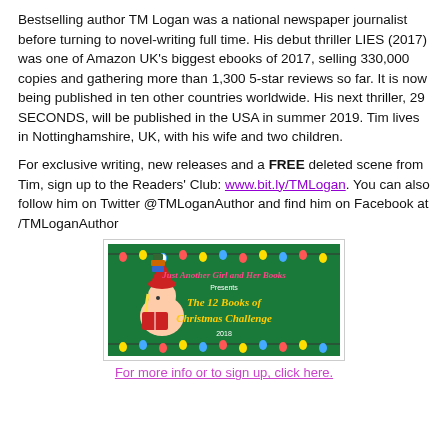Bestselling author TM Logan was a national newspaper journalist before turning to novel-writing full time. His debut thriller LIES (2017) was one of Amazon UK's biggest ebooks of 2017, selling 330,000 copies and gathering more than 1,300 5-star reviews so far. It is now being published in ten other countries worldwide. His next thriller, 29 SECONDS, will be published in the USA in summer 2019. Tim lives in Nottinghamshire, UK, with his wife and two children.
For exclusive writing, new releases and a FREE deleted scene from Tim, sign up to the Readers' Club: www.bit.ly/TMLogan. You can also follow him on Twitter @TMLoganAuthor and find him on Facebook at /TMLoganAuthor
[Figure (illustration): Just Another Girl and Her Books Presents The 12 Books of Christmas Challenge 2018 — green banner with Christmas lights and cartoon character reading a book with books stacked on head wearing a Santa hat]
For more info or to sign up, click here.